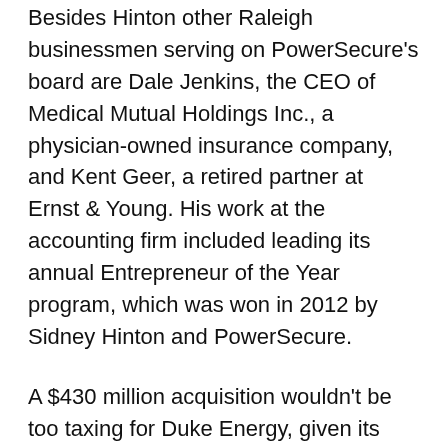Besides Hinton other Raleigh businessmen serving on PowerSecure's board are Dale Jenkins, the CEO of Medical Mutual Holdings Inc., a physician-owned insurance company, and Kent Geer, a retired partner at Ernst & Young. His work at the accounting firm included leading its annual Entrepreneur of the Year program, which was won in 2012 by Sidney Hinton and PowerSecure.
A $430 million acquisition wouldn't be too taxing for Duke Energy, given its $50 billion market cap, so it's a good bet they either gave PowerSecure a close look or made a bid. Duke won't comment on M&A, a spokesman says, while noting it has made investments in distributed-energy companies. Duke also has its hands full with its $4.9 billion purchase of Piedmont Natural Gas Co.
Moral to this story: next time you hear a CEO who is selling lots of energy-saving stuff to some of the hottest U.S. tech